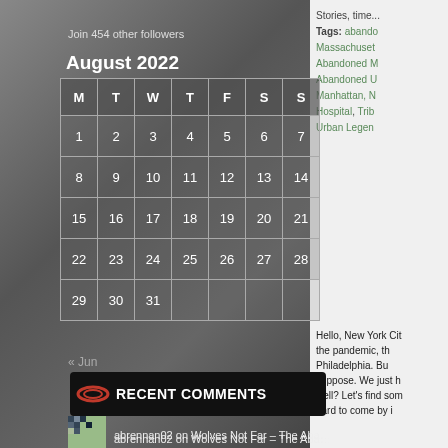Join 454 other followers
| M | T | W | T | F | S | S |
| --- | --- | --- | --- | --- | --- | --- |
| 1 | 2 | 3 | 4 | 5 | 6 | 7 |
| 8 | 9 | 10 | 11 | 12 | 13 | 14 |
| 15 | 16 | 17 | 18 | 19 | 20 | 21 |
| 22 | 23 | 24 | 25 | 26 | 27 | 28 |
| 29 | 30 | 31 |  |  |  |  |
« Jun
RECENT COMMENTS
abrennan02 on Wolves Not Far – The Aba…
Anonymous on The Cabin in the Woods —...
Mallika Thanky on As Our Campfire Fades Away…
PREVIOUS ADVENTURES
Select Month
Tags: abandoned Massachusetts Abandoned M Abandoned U Manhattan, N Hospital, Trib Urban Legen
Hello, New York Cit the pandemic, th Philadelphia. Bu suppose. We just h Hell? Let's find som hard to come by i